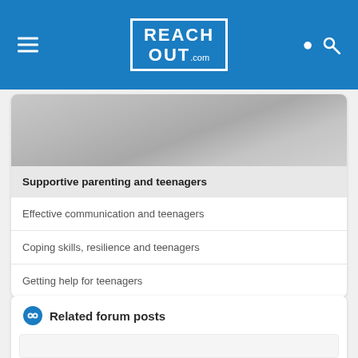REACH OUT .com
[Figure (photo): Gray gradient placeholder image for Supportive parenting and teenagers article]
Supportive parenting and teenagers
Effective communication and teenagers
Coping skills, resilience and teenagers
Getting help for teenagers
Related forum posts